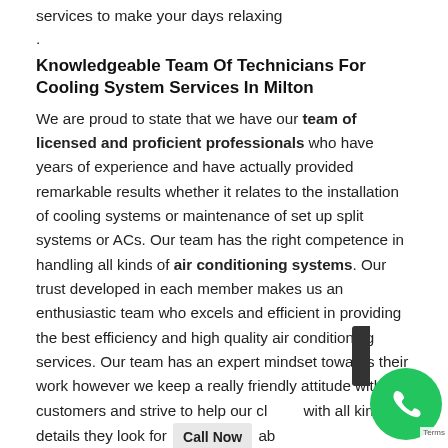services to make your days relaxing
.
Knowledgeable Team Of Technicians For Cooling System Services In Milton
We are proud to state that we have our team of licensed and proficient professionals who have years of experience and have actually provided remarkable results whether it relates to the installation of cooling systems or maintenance of set up split systems or ACs. Our team has the right competence in handling all kinds of air conditioning systems. Our trust developed in each member makes us an enthusiastic team who excels and efficient in providing the best efficiency and high quality air conditioning services. Our team has an expert mindset towards their work however we keep a really friendly attitude with our customers and strive to help our clients with all kind of details they look for about cooling systems. Above all, we provide 24/7 services around the year, even on holidays and vacations.